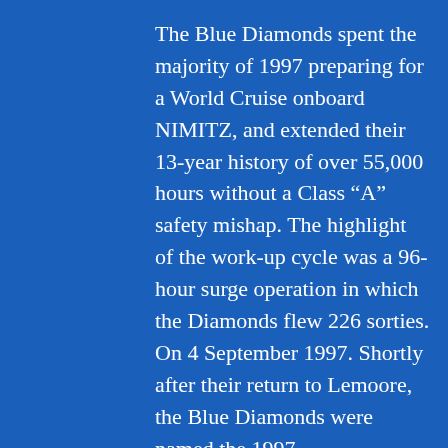The Blue Diamonds spent the majority of 1997 preparing for a World Cruise onboard NIMITZ, and extended their 13-year history of over 55,000 hours without a Class "A" safety mishap. The highlight of the work-up cycle was a 96-hour surge operation in which the Diamonds flew 226 sorties. On 4 September 1997. Shortly after their return to Lemoore, the Blue Diamonds were named the 1997 COMNAVAIRPAC Battle "E" winner. The Diamonds were also awarded the Captain Michael J. Estocin, Rear Admiral Clarence Wade McClusky and the Scott F. Kirby Awards. These awards recognize the outstanding efforts of the entire squadron in 1997.